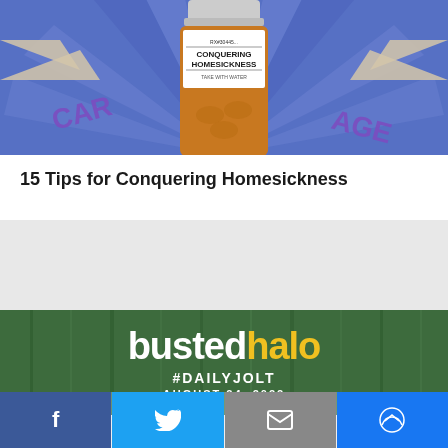[Figure (illustration): Illustrated prescription bottle labeled 'RX#304456 CONQUERING HOMESICKNESS TAKE WITH WATER' on a blue background with radiating beige/tan spokes and partial text 'CARE' and 'AGE' visible]
15 Tips for Conquering Homesickness
[Figure (logo): bustedhalo logo with #DAILYJOLT and AUGUST 24, 2022 on a dark green forest background]
Facebook | Twitter | Email | Messenger social share buttons